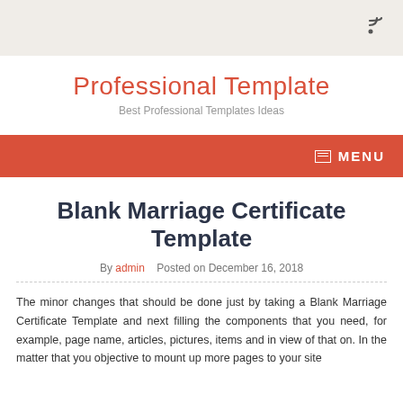RSS icon in top-right corner of header bar
Professional Template
Best Professional Templates Ideas
MENU
Blank Marriage Certificate Template
By admin   Posted on December 16, 2018
The minor changes that should be done just by taking a Blank Marriage Certificate Template and next filling the components that you need, for example, page name, articles, pictures, items and in view of that on. In the matter that you objective to mount up more pages to your site